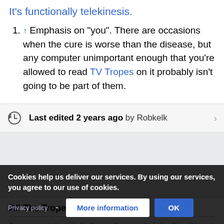It's functionally telekinesis.
↑ Emphasis on "you". There are occasions when the cure is worse than the disease, but any computer unimportant enough that you're allowed to read TV Tropes on it probably isn't going to be part of them.
Last edited 2 years ago by Robkelk
All The Tropes
Content is available under the Creative Commons Attribution-ShareAlike and intercrucial license unless otherwise noted. See Copyrights for details.
Privacy policy
Cookies help us deliver our services. By using our services, you agree to our use of cookies.
More information
OK